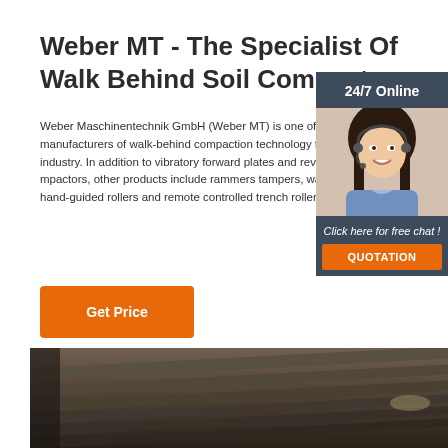Weber MT - The Specialist Of Walk Behind Soil Compactors
Weber Maschinentechnik GmbH (Weber MT) is one of the leading manufacturers of walk-behind compaction technology for the construction industry. In addition to vibratory forward plates and reversible plate compactors, other products include rammers tampers, walk-behind rollers or hand-guided rollers and remote controlled trench rollers.
[Figure (photo): Customer service representative with headset and '24/7 Online' and 'Click here for free chat!' call-to-action with QUOTATION button]
[Figure (photo): Steel bars or construction materials viewed from below in a warehouse/storage facility]